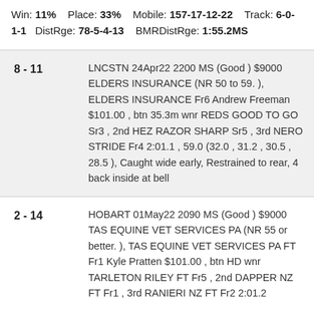Win: 11%  Place: 33%  Mobile: 157-17-12-22  Track: 6-0-1-1  DistRge: 78-5-4-13  BMRDistRge: 1:55.2MS
| Pos | Detail |
| --- | --- |
| 8 - 11 | LNCSTN 24Apr22 2200 MS (Good ) $9000 ELDERS INSURANCE (NR 50 to 59. ), ELDERS INSURANCE Fr6 Andrew Freeman $101.00 , btn 35.3m wnr REDS GOOD TO GO Sr3 , 2nd HEZ RAZOR SHARP Sr5 , 3rd NERO STRIDE Fr4 2:01.1 , 59.0 (32.0 , 31.2 , 30.5 , 28.5 ), Caught wide early, Restrained to rear, 4 back inside at bell |
| 2 - 14 | HOBART 01May22 2090 MS (Good ) $9000 TAS EQUINE VET SERVICES PA (NR 55 or better. ), TAS EQUINE VET SERVICES PA FT Fr1 Kyle Pratten $101.00 , btn HD wnr TARLETON RILEY FT Fr5 , 2nd DAPPER NZ FT Fr1 , 3rd RANIERI NZ FT Fr2 2:01.2 |